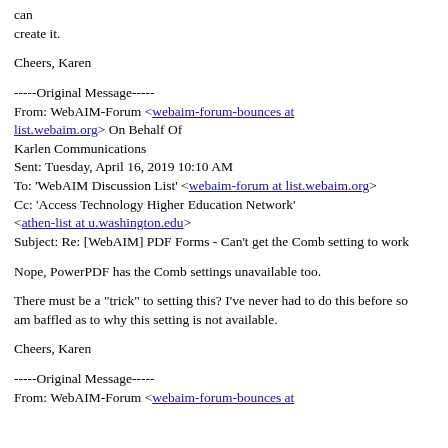can
create it.
Cheers, Karen
-----Original Message-----
From: WebAIM-Forum <webaim-forum-bounces at list.webaim.org> On Behalf Of
Karlen Communications
Sent: Tuesday, April 16, 2019 10:10 AM
To: 'WebAIM Discussion List' <webaim-forum at list.webaim.org>
Cc: 'Access Technology Higher Education Network' <athen-list at u.washington.edu>
Subject: Re: [WebAIM] PDF Forms - Can't get the Comb setting to work
Nope, PowerPDF has the Comb settings unavailable too.
There must be a "trick" to setting this? I've never had to do this before so
am baffled as to why this setting is not available.
Cheers, Karen
-----Original Message-----
From: WebAIM-Forum <webaim-forum-bounces at